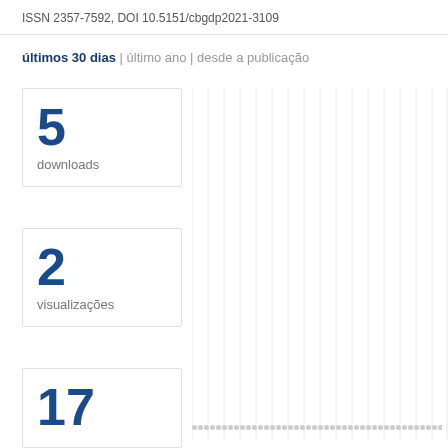ISSN 2357-7592, DOI 10.5151/cbgdp2021-3109
últimos 30 dias | último ano | desde a publicação
5 downloads
2 visualizações
17